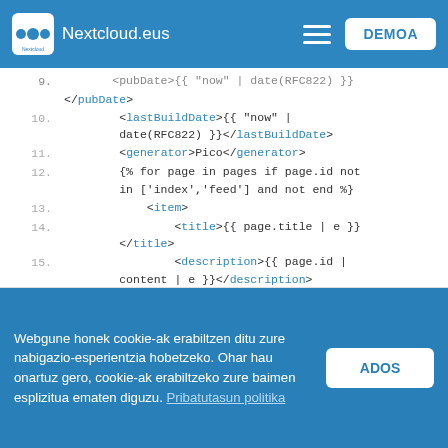Nextcloud.eus | DEMOA
[Figure (screenshot): Code editor view showing XML/Twig template code with line numbers 9-19. Lines show pubDate, lastBuildDate, generator, for loop, item, title, description, pubDate, link, guid, and for cat in page.meta.categories elements.]
Webgune honek cookie-ak erabiltzen ditu zure nabigazio-esperientzia hobetzeko. Ohar hau onartuz gero, cookie-ak erabiltzeko zure baimen esplizitua ematen diguzu. Pribatutasun politika
ADOS